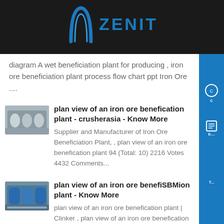[Figure (logo): Zenit company logo with arch symbol and blue text on dark background]
diagram A wet beneficiation plant for producing , iron ore beneficiation plant process flow chart ppt Iron Ore ....
[Figure (photo): Small thumbnail image of industrial equipment - iron ore beneficiation plant]
plan view of an iron ore benefication plant - crusherasia - Know More
Supplier and Manufacturer of Iron Ore Beneficiation Plant, , plan view of an iron ore benefication plant 94 (Total: 10) 2216 Votes 4432 Comments...
[Figure (photo): Small thumbnail image of industrial equipment - iron ore plant with blue tanks]
plan view of an iron ore benefiSBMion plant - Know More
plan view of an iron ore benefication plant | Clinker , plan view of an iron ore benefication plant Our machines have been sold to 120 countries and areas of